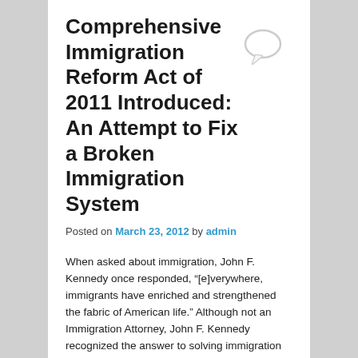Comprehensive Immigration Reform Act of 2011 Introduced: An Attempt to Fix a Broken Immigration System
Posted on March 23, 2012 by admin
When asked about immigration, John F. Kennedy once responded, “[e]verywhere, immigrants have enriched and strengthened the fabric of American life.” Although not an Immigration Attorney, John F. Kennedy recognized the answer to solving immigration involved more than mere enforcement and deportation.
In symmetry with John F. Kennedy, on June 22, 2011, Senator Robert Menendez of New Jersey introduced the Comprehensive Immigration Reform Act of 2011 by citing